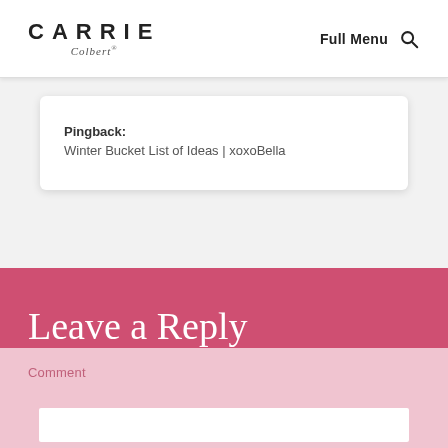CARRIE Colbert  Full Menu 🔍
Pingback:
Winter Bucket List of Ideas | xoxoBella
Leave a Reply
Comment